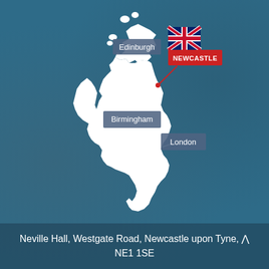[Figure (map): Map of the United Kingdom (white silhouette on blue background) with city labels: Edinburgh (upper left), Newcastle (upper right, highlighted in red with UK flag), Birmingham (center), London (lower right). A red callout line/pin points to Newcastle on the east coast of England.]
Neville Hall, Westgate Road, Newcastle upon Tyne, NE1 1SE